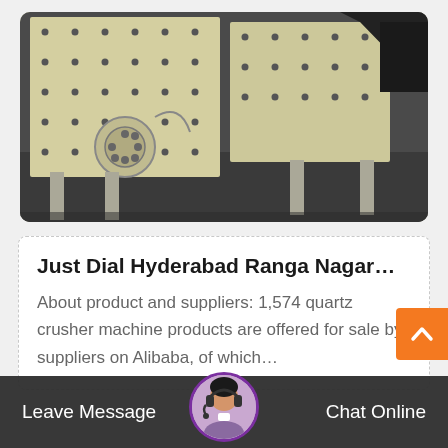[Figure (photo): Industrial quartz crusher / vibrating screen machine, cream/beige colored metal structure with bolted panels, circular disc component, metal legs, on a dark factory floor background]
Just Dial Hyderabad Ranga Nagar…
About product and suppliers: 1,574 quartz crusher machine products are offered for sale by suppliers on Alibaba, of which…
[Figure (photo): Customer service agent avatar — woman with headset, circular purple-bordered photo]
Leave Message
Chat Online